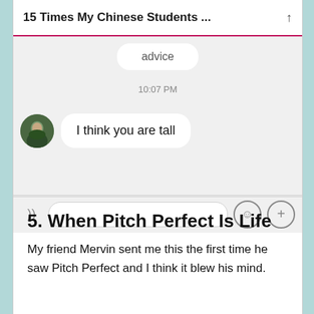15 Times My Chinese Students ...
[Figure (screenshot): A messaging app screenshot showing a partial incoming message bubble with 'advice' (cut off at top), a timestamp of 10:07 PM, an incoming message bubble saying 'I think you are tall' with a circular avatar photo of a person, and a message input bar at the bottom with microphone icon, text field, emoji button, and plus button.]
5. When Pitch Perfect Is Life
My friend Mervin sent me this the first time he saw Pitch Perfect and I think it blew his mind.